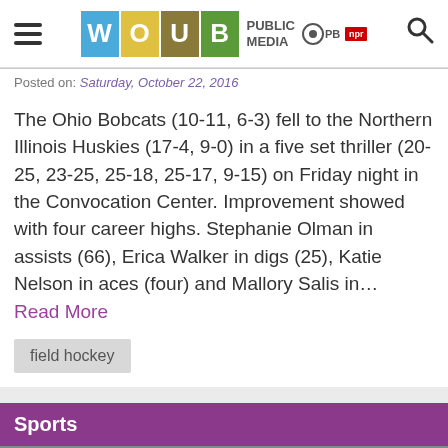WOUB PUBLIC MEDIA - PBS NPR
Posted on: Saturday, October 22, 2016
The Ohio Bobcats (10-11, 6-3) fell to the Northern Illinois Huskies (17-4, 9-0) in a five set thriller (20-25, 23-25, 25-18, 25-17, 9-15) on Friday night in the Convocation Center. Improvement showed with four career highs. Stephanie Olman in assists (66), Erica Walker in digs (25), Katie Nelson in aces (four) and Mallory Salis in… Read More
field hockey
Sports
[Figure (photo): Sports section photo showing athletes]